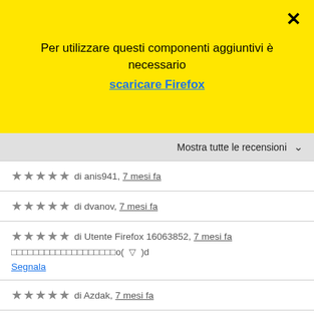Per utilizzare questi componenti aggiuntivi è necessario
scaricare Firefox
Mostra tutte le recensioni
★★★★★ di anis941, 7 mesi fa
★★★★★ di dvanov, 7 mesi fa
★★★★★ di Utente Firefox 16063852, 7 mesi fa
□□□□□□□□□□□□□□□□□□□o( ▽ )d
Segnala
★★★★★ di Azdak, 7 mesi fa
★★★★★ di 10_Tenente_Jeso, 7 mesi fa